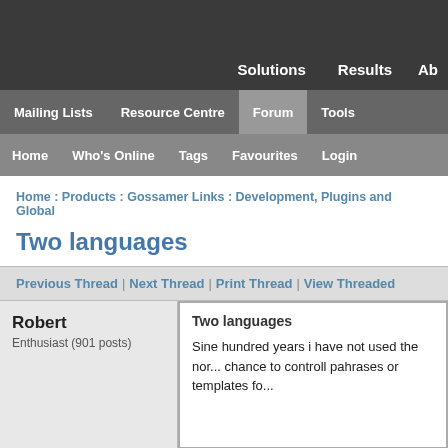Solutions | Results | Ab...
Mailing Lists | Resource Centre | Forum | Tools
Home | Who's Online | Tags | Favourites | Login
Home : Products : Gossamer Links : Development, Plugins and Global...
Two languages
Previous Thread | Next Thread | Print Thread | View Threaded
Robert
Enthusiast (901 posts)
Two languages
Sine hundred years i have not used the nor... chance to controll pahrases or templates fo...